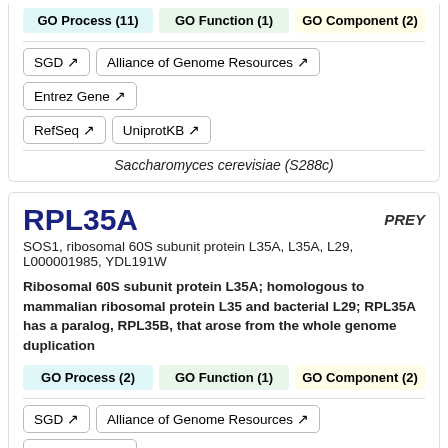GO Process (11) | GO Function (1) | GO Component (2)
SGD | Alliance of Genome Resources | Entrez Gene
RefSeq | UniprotKB
Saccharomyces cerevisiae (S288c)
RPL35A
PREY
SOS1, ribosomal 60S subunit protein L35A, L35A, L29, L000001985, YDL191W
Ribosomal 60S subunit protein L35A; homologous to mammalian ribosomal protein L35 and bacterial L29; RPL35A has a paralog, RPL35B, that arose from the whole genome duplication
GO Process (2) | GO Function (1) | GO Component (2)
SGD | Alliance of Genome Resources | Entrez Gene
RefSeq | UniprotKB
Saccharomyces cerevisiae (S288c)